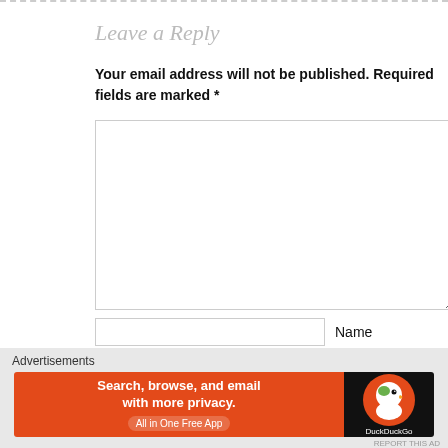Leave a Reply
Your email address will not be published. Required fields are marked *
[Figure (screenshot): Comment text area input box]
[Figure (screenshot): Name input field with label 'Name']
Advertisements
[Figure (screenshot): DuckDuckGo advertisement banner: Search, browse, and email with more privacy. All in One Free App]